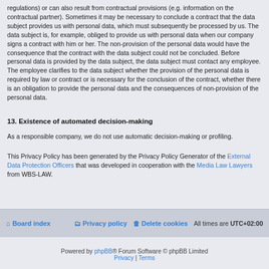regulations) or can also result from contractual provisions (e.g. information on the contractual partner). Sometimes it may be necessary to conclude a contract that the data subject provides us with personal data, which must subsequently be processed by us. The data subject is, for example, obliged to provide us with personal data when our company signs a contract with him or her. The non-provision of the personal data would have the consequence that the contract with the data subject could not be concluded. Before personal data is provided by the data subject, the data subject must contact any employee. The employee clarifies to the data subject whether the provision of the personal data is required by law or contract or is necessary for the conclusion of the contract, whether there is an obligation to provide the personal data and the consequences of non-provision of the personal data.
13. Existence of automated decision-making
As a responsible company, we do not use automatic decision-making or profiling.
This Privacy Policy has been generated by the Privacy Policy Generator of the External Data Protection Officers that was developed in cooperation with the Media Law Lawyers from WBS-LAW.
Board index | Privacy policy | Delete cookies | All times are UTC+02:00 | Powered by phpBB® Forum Software © phpBB Limited | Privacy | Terms